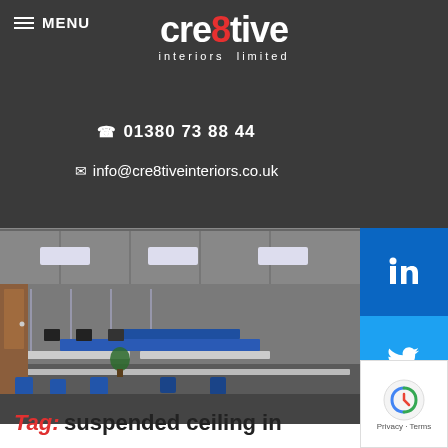MENU
[Figure (logo): cre8tive interiors limited logo in white on dark background]
01380 73 88 44
info@cre8tiveinteriors.co.uk
[Figure (photo): Office interior with open-plan desks, blue chairs, glass partitions and suspended ceiling]
Tag: suspended ceiling in